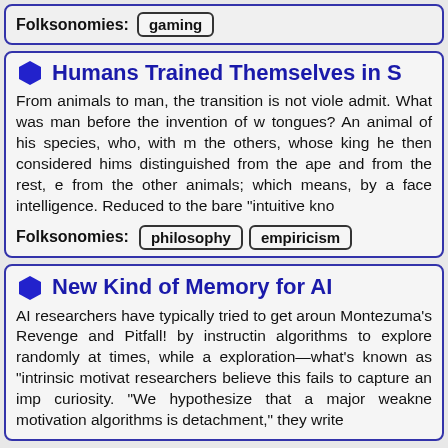Folksonomies: gaming
Humans Trained Themselves in S...
From animals to man, the transition is not viole... admit. What was man before the invention of w... tongues? An animal of his species, who, with m... the others, whose king he then considered hims... distinguished from the ape and from the rest, e... from the other animals; which means, by a face... intelligence. Reduced to the bare "intuitive kno...
Folksonomies: philosophy empiricism
New Kind of Memory for AI
AI researchers have typically tried to get aroun... Montezuma's Revenge and Pitfall! by instructin... algorithms to explore randomly at times, while a... exploration—what's known as "intrinsic motivat... researchers believe this fails to capture an imp... curiosity. "We hypothesize that a major weakne... motivation algorithms is detachment," they write...